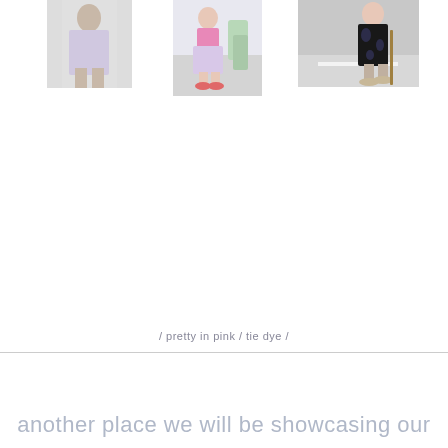[Figure (photo): Fashion photo on left - partial view, woman in outfit]
[Figure (photo): Fashion photo center - woman in pink top and floral skirt standing outdoors]
[Figure (photo): Fashion photo right - woman in black tie-dye dress walking on pavement]
/ pretty in pink / tie dye /
another place we will be showcasing our